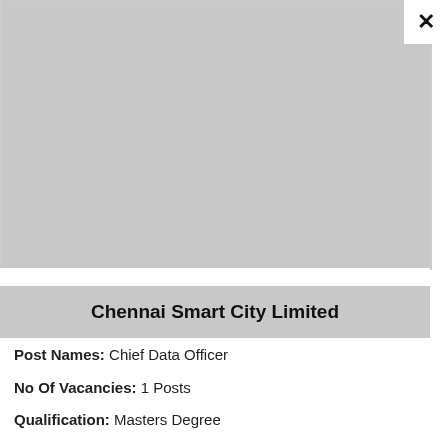[Figure (other): Grey image placeholder area at the top of the modal/popup]
Chennai Smart City Limited
Post Names: Chief Data Officer
No Of Vacancies: 1 Posts
Qualification: Masters Degree